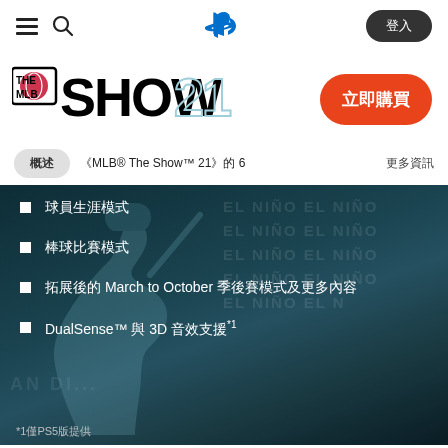PlayStation navigation bar with hamburger menu, search icon, PlayStation logo, and login button
[Figure (logo): MLB The Show 21 game logo in black and light blue]
立即購買
概述　　　《MLB® The Show™ 21》的 6　　更多資訊
球員生涯模式
棒球比賽模式
拓展後的 March to October 季後賽模式及更多內容
DualSense™ 與 3D 音效支援*1
*1僅PS5版提供